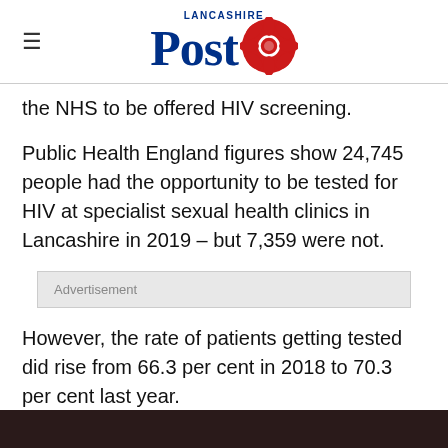Lancashire Post
the NHS to be offered HIV screening.
Public Health England figures show 24,745 people had the opportunity to be tested for HIV at specialist sexual health clinics in Lancashire in 2019 – but 7,359 were not.
Advertisement
However, the rate of patients getting tested did rise from 66.3 per cent in 2018 to 70.3 per cent last year.
[Figure (photo): Dark colored image at the bottom of the page]